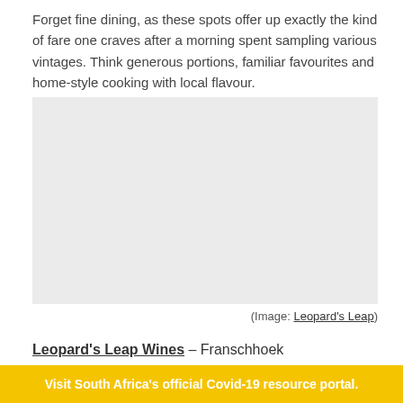Forget fine dining, as these spots offer up exactly the kind of fare one craves after a morning spent sampling various vintages. Think generous portions, familiar favourites and home-style cooking with local flavour.
[Figure (photo): Light grey placeholder image, likely a photo from Leopard's Leap winery or restaurant.]
(Image: Leopard's Leap)
Leopard's Leap Wines – Franschhoek
Nestled in the Franschhoek Valley and featuring some of the
Visit South Africa's official Covid-19 resource portal.